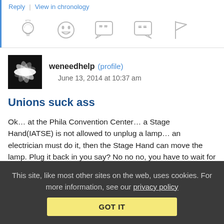Reply | View in chronology
[Figure (other): Row of action icons: lightbulb, laughing emoji, speech bubble with quotes, speech bubble with quotation mark, flag]
weneedhelp (profile) June 13, 2014 at 10:37 am
Unions suck ass
Ok… at the Phila Convention Center… a Stage Hand(IATSE) is not allowed to unplug a lamp… an electrician must do it, then the Stage Hand can move the lamp. Plug it back in you say? No no no, you have to wait for an electrician. I shit you not. (Electricians & Teamsters have since lost the contract. big bru ha ha like a month ago.
This site, like most other sites on the web, uses cookies. For more information, see our privacy policy
GOT IT